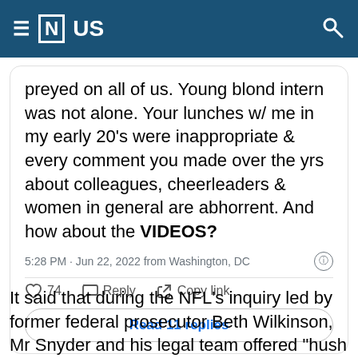≡ [N] US
preyed on all of us. Young blond intern was not alone. Your lunches w/ me in my early 20's were inappropriate & every comment you made over the yrs about colleagues, cheerleaders & women in general are abhorrent. And how about the VIDEOS?
5:28 PM · Jun 22, 2022 from Washington, DC
♡ 74   Reply   Copy link
Read 11 replies
It said that during the NFL's inquiry led by former federal prosecutor Beth Wilkinson, Mr Snyder and his legal team offered "hush money" to former cheerleaders to dissuade